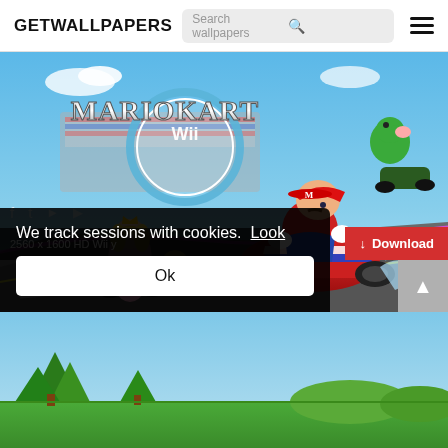GETWALLPAPERS  [Search wallpapers] [hamburger menu]
[Figure (screenshot): Mario Kart Wii game cover art wallpaper showing Mario driving a red kart, with Princess Peach, Yoshi, Toad, and other characters on a racing track. The Mario Kart Wii logo is displayed prominently.]
We track sessions with cookies.  Look
Ok
[Figure (screenshot): Bottom partial screenshot showing a green landscape scene from another wallpaper]